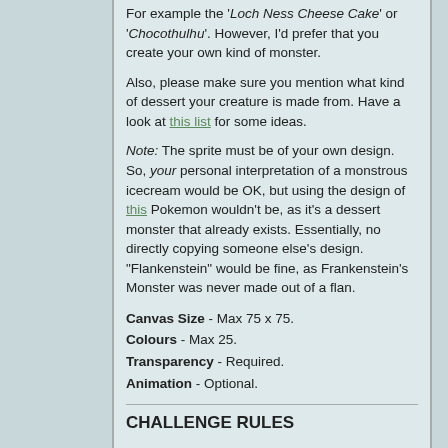For example the 'Loch Ness Cheese Cake' or 'Chocothulhu'. However, I'd prefer that you create your own kind of monster.
Also, please make sure you mention what kind of dessert your creature is made from. Have a look at this list for some ideas.
Note: The sprite must be of your own design. So, your personal interpretation of a monstrous icecream would be OK, but using the design of this Pokemon wouldn't be, as it's a dessert monster that already exists. Essentially, no directly copying someone else's design. "Flankenstein" would be fine, as Frankenstein's Monster was never made out of a flan.
Canvas Size - Max 75 x 75.
Colours - Max 25.
Transparency - Required.
Animation - Optional.
CHALLENGE RULES
Participants have until this upcoming Sunday at midnight (12AM Pacific) to submit their entry (strict). Don't forget to check the 'Submit to weekly challenge' checkbox.
Only new pixels allowed.
Open to all members.
Posting WIPs in this thread or in new threads